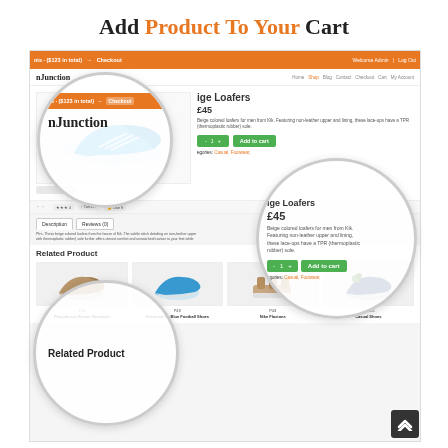Add Product To Your Cart
[Figure (screenshot): Screenshot of an e-commerce website (Junction) showing a product page for Beige Loafers priced at £45, with add to cart functionality, related products section, and three circular magnifier callouts highlighting: the cart/checkout bar and site logo, the product detail and Add to cart button, and the Related Product section.]